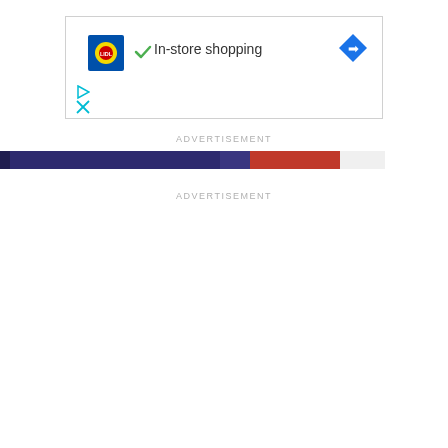[Figure (screenshot): Ad unit with Lidl logo, checkmark, 'In-store shopping' text, and a blue navigation arrow icon. Below are two small icon buttons (play/triangle and X in cyan/teal).]
ADVERTISEMENT
[Figure (photo): Partial image banner showing dark blue/purple background on the left and red/white food item on the right.]
ADVERTISEMENT